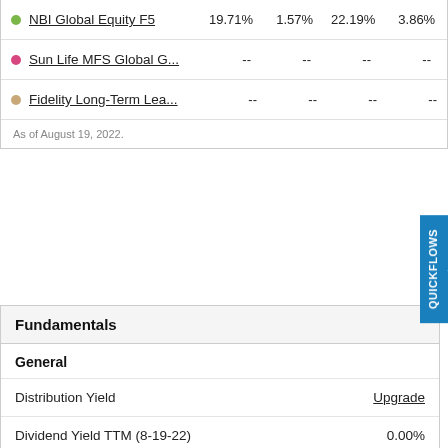| Fund | Col1 | Col2 | Col3 | Col4 | Col5 |
| --- | --- | --- | --- | --- | --- |
| NBI Global Equity F5 | 19.71% | 1.57% | 22.19% | 3.86% | 26... |
| Sun Life MFS Global G... | -- | -- | -- | -- | 28... |
| Fidelity Long-Term Lea... | -- | -- | -- | -- |  |
As of August 19, 2022.
| Fundamentals |  |
| --- | --- |
| General |  |
| Distribution Yield | Upgrade |
| Dividend Yield TTM (8-19-22) | 0.00% |
| 30-Day SEC Yield | -- |
| 7-Day SEC Yield | -- |
| Number of Holdings | Upgrade |
| Growth |  |
| --- | --- |
| Fore... Growth |  |
| Forecasted Growth |  |
| Forecasted Growth |  |
| Forecasted |  |
| Forecasted |  |